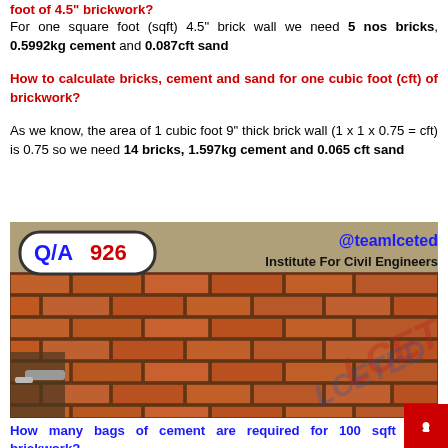foot of 4.5" brickwork?
For one square foot (sqft) 4.5" brick wall we need 5 nos bricks, 0.5992kg cement and 0.087cft sand
How to calculate bricks, cement and sand for one cubic foot (cft) of brickwork?
As we know, the area of 1 cubic foot 9" thick brick wall (1 x 1 x 0.75 = cft) is 0.75 so we need 14 bricks, 1.597kg cement and 0.065 cft sand
[Figure (photo): Photo of a brick wall being laid, with a trowel visible. Overlaid with Q/A 926 badge, @teamlceted handle, Institute For Civil Engineers text, and LCETED watermark.]
How many bags of cement are required for 100 sqft brickwork?
As we know 1sqft brickwork need 1.1984 kg cement therefore 100